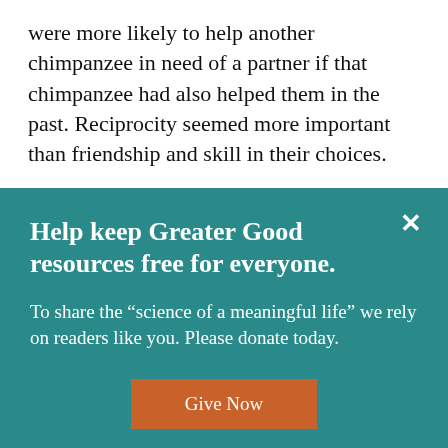were more likely to help another chimpanzee in need of a partner if that chimpanzee had also helped them in the past. Reciprocity seemed more important than friendship and skill in their choices.
Help keep Greater Good resources free for everyone.
To share the “science of a meaningful life” we rely on readers like you. Please donate today.
Give Now